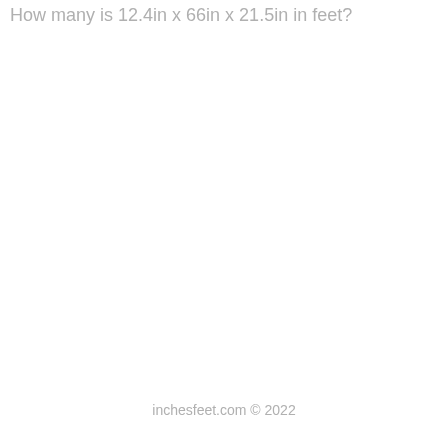How many is 12.4in x 66in x 21.5in in feet?
inchesfeet.com © 2022